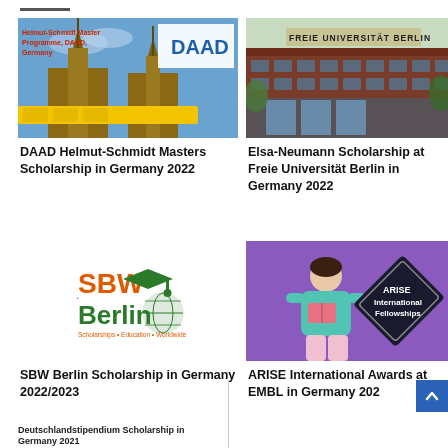[Figure (illustration): DAAD Helmut-Schmidt Master Programme photo showing Berlin skyline with towers and yellow train, white box with DAAD logo]
DAAD Helmut-Schmidt Masters Scholarship in Germany 2022
[Figure (photo): Freie Universität Berlin building exterior, brick facade with sign reading FREIE UNIVERSITÄT BERLIN]
Elsa-Neumann Scholarship at Freie Universität Berlin in Germany 2022
[Figure (logo): SBW Berlin logo with orange SBW text, green Berlin text, globe icon, and tagline Scholarships Education Worldwide]
SBW Berlin Scholarship in Germany 2022/2023
[Figure (photo): Woman reading a book on purple background with ARISE International Fellowships diamond-shaped badge]
ARISE International Awards at EMBL in Germany 202
Deutschlandstipendium Scholarship in Germany 2021